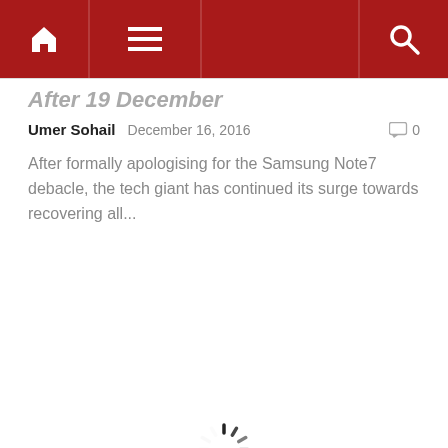Navigation bar with home, menu, and search icons
After 19 December
Umer Sohail   December 16, 2016   0
After formally apologising for the Samsung Note7 debacle, the tech giant has continued its surge towards recovering all...
[Figure (other): Loading spinner (circular spinner animation indicator)]